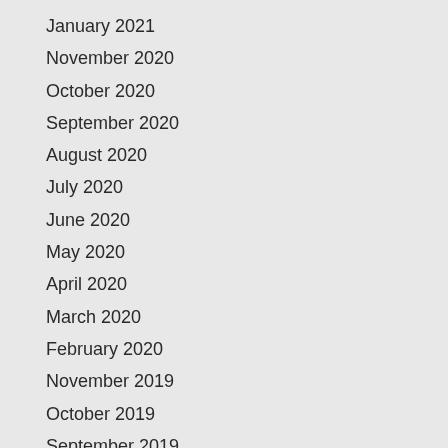January 2021
November 2020
October 2020
September 2020
August 2020
July 2020
June 2020
May 2020
April 2020
March 2020
February 2020
November 2019
October 2019
September 2019
April 2019
February 2019
January 2019
December 2018
November 2018